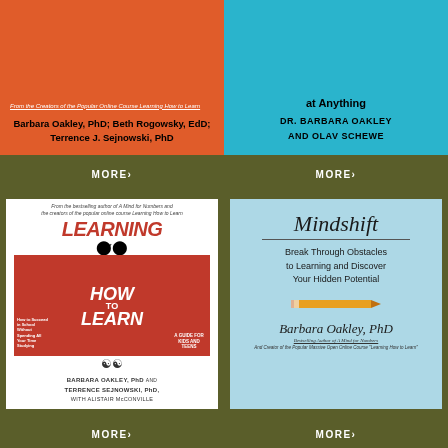[Figure (illustration): Book cover: Uncommon Sense Teaching, orange background, authors Barbara Oakley PhD; Beth Rogowsky, EdD; Terrence J. Sejnowski, PhD]
[Figure (illustration): Book cover: at Anything, blue background, authors Dr. Barbara Oakley and Olav Schewe]
MORE›
MORE›
[Figure (illustration): Book cover: Learning How to Learn, white background, authors Barbara Oakley PhD and Terrence Sejnowski PhD, with Alistair McConville]
[Figure (illustration): Book cover: Mindshift, Break Through Obstacles to Learning and Discover Your Hidden Potential, light blue background, author Barbara Oakley PhD]
MORE›
MORE›